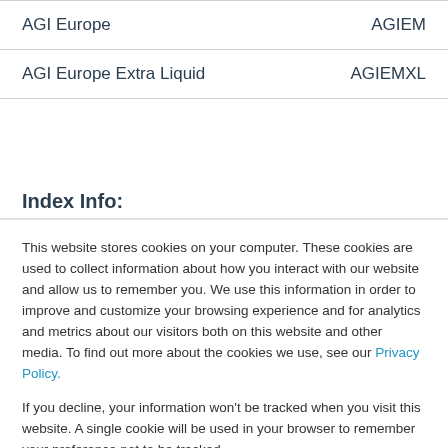| AGI Europe | AGIEM |
| AGI Europe Extra Liquid | AGIEMXL |
Index Info:
Walter Nasdaq
This website stores cookies on your computer. These cookies are used to collect information about how you interact with our website and allow us to remember you. We use this information in order to improve and customize your browsing experience and for analytics and metrics about our visitors both on this website and other media. To find out more about the cookies we use, see our Privacy Policy.

If you decline, your information won't be tracked when you visit this website. A single cookie will be used in your browser to remember your preference not to be tracked.